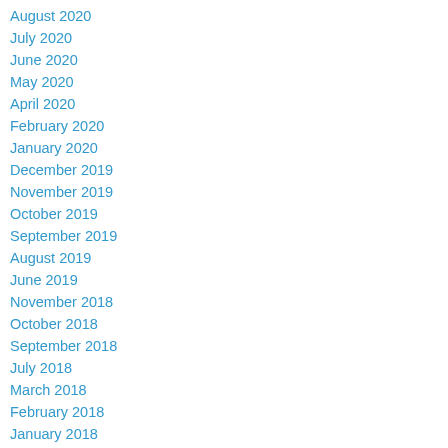August 2020
July 2020
June 2020
May 2020
April 2020
February 2020
January 2020
December 2019
November 2019
October 2019
September 2019
August 2019
June 2019
November 2018
October 2018
September 2018
July 2018
March 2018
February 2018
January 2018
December 2017